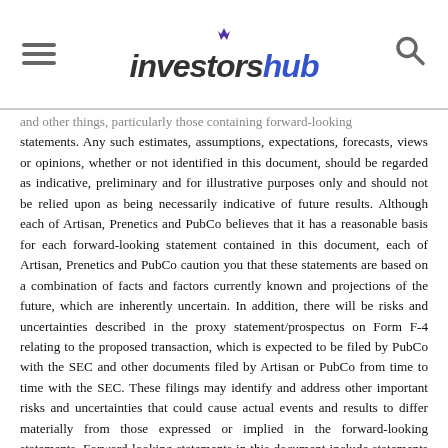investorshub
statements. Any such estimates, assumptions, expectations, forecasts, views or opinions, whether or not identified in this document, should be regarded as indicative, preliminary and for illustrative purposes only and should not be relied upon as being necessarily indicative of future results. Although each of Artisan, Prenetics and PubCo believes that it has a reasonable basis for each forward-looking statement contained in this document, each of Artisan, Prenetics and PubCo caution you that these statements are based on a combination of facts and factors currently known and projections of the future, which are inherently uncertain. In addition, there will be risks and uncertainties described in the proxy statement/prospectus on Form F-4 relating to the proposed transaction, which is expected to be filed by PubCo with the SEC and other documents filed by Artisan or PubCo from time to time with the SEC. These filings may identify and address other important risks and uncertainties that could cause actual events and results to differ materially from those expressed or implied in the forward-looking statements. Forward-looking statements in this document include statements regarding the proposed transaction, including the timing and structure of the transaction, the proceeds of the transaction and the benefits of the transaction. Neither Artisan, Prenetics nor PubCo can assure you that the forward-looking statements in this document will prove to be accurate. These forward-looking statements are subject to a number of risks and uncertainties, including the ability to complete the business combination due to the failure to obtain approval from Artisan’s shareholders or satisfy other closing conditions in the business combination agreement, the occurrence of any event that could give rise to the